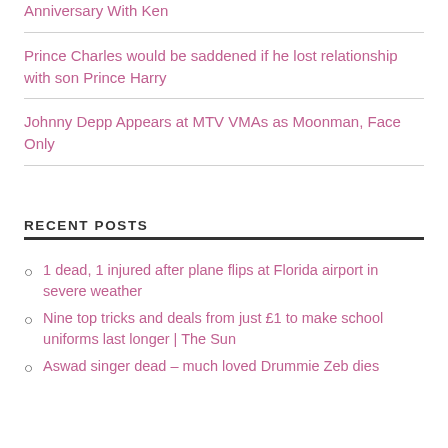Anniversary With Ken
Prince Charles would be saddened if he lost relationship with son Prince Harry
Johnny Depp Appears at MTV VMAs as Moonman, Face Only
RECENT POSTS
1 dead, 1 injured after plane flips at Florida airport in severe weather
Nine top tricks and deals from just £1 to make school uniforms last longer | The Sun
Aswad singer dead – much loved Drummie Zeb dies